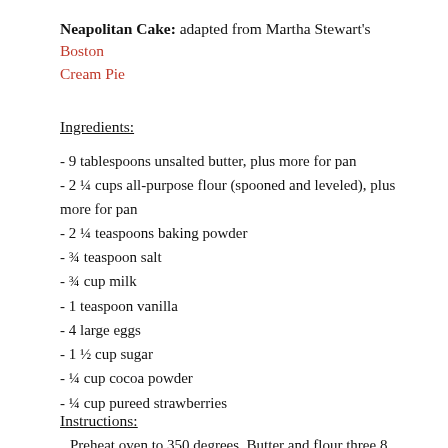Neapolitan Cake: adapted from Martha Stewart's Boston Cream Pie
Ingredients:
- 9 tablespoons unsalted butter, plus more for pan
- 2 ¼ cups all-purpose flour (spooned and leveled), plus more for pan
- 2 ¼ teaspoons baking powder
- ¾ teaspoon salt
- ¾ cup milk
- 1 teaspoon vanilla
- 4 large eggs
- 1 ½ cup sugar
- ¼ cup cocoa powder
- ¼ cup pureed strawberries
Instructions:
Preheat oven to 350 degrees. Butter and flour three 8